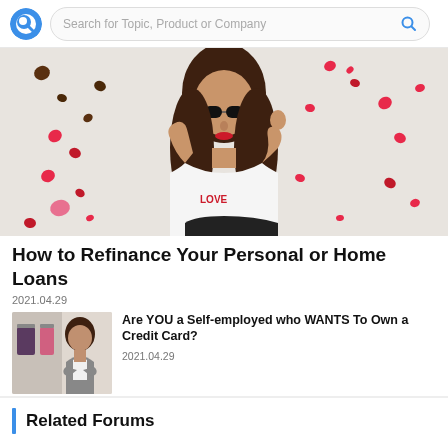Search for Topic, Product or Company
[Figure (photo): Woman in white t-shirt and sunglasses posing with red and brown heart-shaped confetti falling around her against a light grey background]
How to Refinance Your Personal or Home Loans
2021.04.29
[Figure (photo): Thumbnail image of a businesswoman standing with arms crossed in front of clothing store displays]
Are YOU a Self-employed who WANTS To Own a Credit Card?
2021.04.29
Related Forums